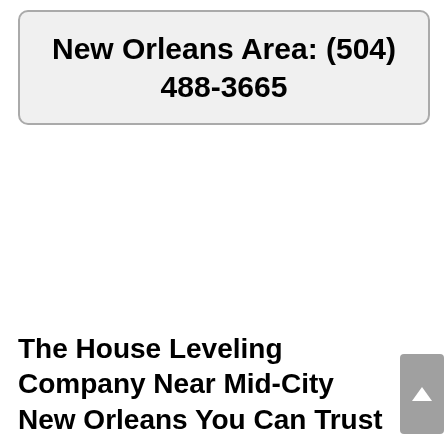New Orleans Area: (504) 488-3665
The House Leveling Company Near Mid-City New Orleans You Can Trust